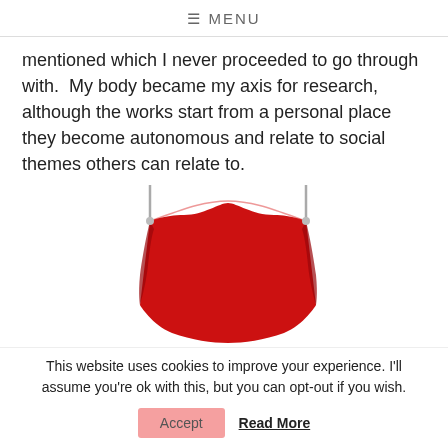☰ MENU
mentioned which I never proceeded to go through with.  My body became my axis for research, although the works start from a personal place they become autonomous and relate to social themes others can relate to.
[Figure (photo): A red fabric piece suspended from two metal hooks against a white background, sagging in the middle to form a hammock-like shape.]
This website uses cookies to improve your experience. I'll assume you're ok with this, but you can opt-out if you wish.
Accept   Read More